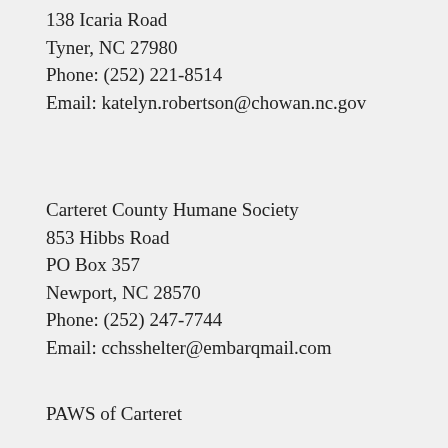138 Icaria Road
Tyner, NC 27980
Phone: (252) 221-8514
Email: katelyn.robertson@chowan.nc.gov
Carteret County Humane Society
853 Hibbs Road
PO Box 357
Newport, NC 28570
Phone: (252) 247-7744
Email: cchsshelter@embarqmail.com
PAWS of Carteret